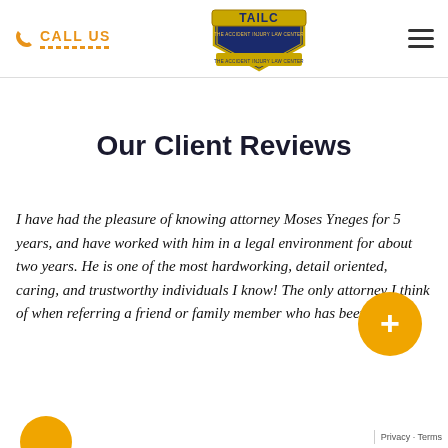CALL US | TAILC - The Accident Injury Law Center
Our Client Reviews
I have had the pleasure of knowing attorney Moses Yneges for 5 years, and have worked with him in a legal environment for about two years. He is one of the most hardworking, detail oriented, caring, and trustworthy individuals I know! The only attorney I think of when referring a friend or family member who has been injured.